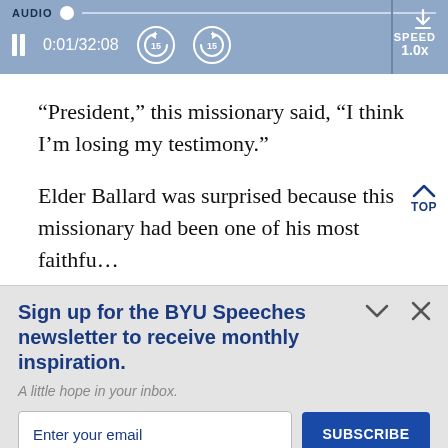[Figure (screenshot): Audio player bar with progress bar, pause button, time display 0:01/32:08, back 15s and forward 15s skip buttons, speed 1.0x, and download icon]
“President,” this missionary said, “I think I’m losing my testimony.”
Elder Ballard was surprised because this missionary had been one of his most faithfu…
Sign up for the BYU Speeches newsletter to receive monthly inspiration.
A little hope in your inbox.
Enter your email
SUBSCRIBE